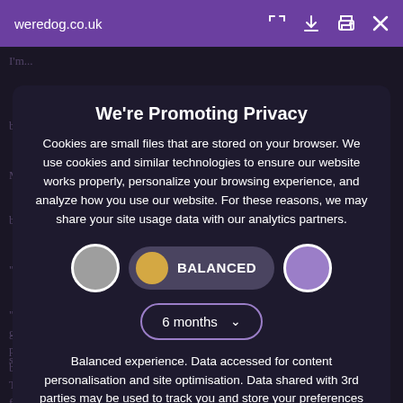weredog.co.uk
We're Promoting Privacy
Cookies are small files that are stored on your browser. We use cookies and similar technologies to ensure our website works properly, personalize your browsing experience, and analyze how you use our website. For these reasons, we may share your site usage data with our analytics partners.
[Figure (other): Cookie consent toggle buttons: grey circle (off), gold/dark BALANCED pill button, purple circle (off)]
[Figure (other): Dropdown selector showing '6 months' with chevron arrow]
Balanced experience. Data accessed for content personalisation and site optimisation. Data shared with 3rd parties may be used to track you and store your preferences for this site.